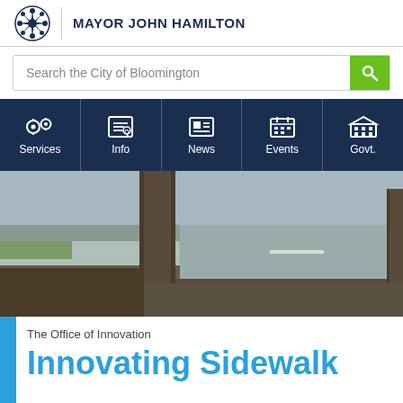MAYOR JOHN HAMILTON
Search the City of Bloomington
[Figure (screenshot): Navigation bar with icons for Services, Info, News, Events, Govt. on dark navy background]
[Figure (photo): Outdoor photo showing trees and a street/sidewalk scene]
The Office of Innovation
Innovating Sidewalk